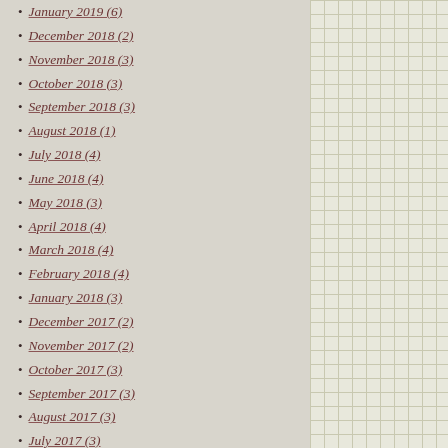January 2019 (6)
December 2018 (2)
November 2018 (3)
October 2018 (3)
September 2018 (3)
August 2018 (1)
July 2018 (4)
June 2018 (4)
May 2018 (3)
April 2018 (4)
March 2018 (4)
February 2018 (4)
January 2018 (3)
December 2017 (2)
November 2017 (2)
October 2017 (3)
September 2017 (3)
August 2017 (3)
July 2017 (3)
June 2017 (2)
May 2017 (3)
April 2017 (4)
March 2017 (3)
February 2017 (3)
January 2017 (4)
December 2016 (3)